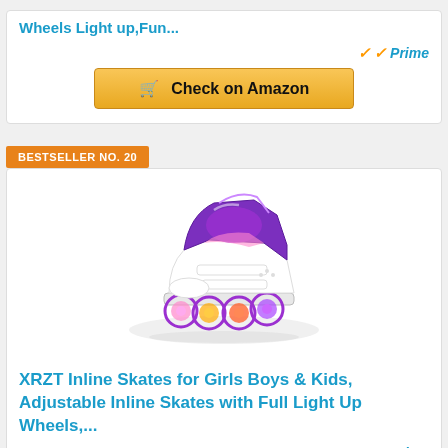Wheels Light up,Fun...
[Figure (other): Amazon Prime badge with gold checkmark]
[Figure (other): Check on Amazon button with shopping cart icon]
BESTSELLER NO. 20
[Figure (photo): Purple XRZT inline skates for kids with light-up wheels, shown at an angle]
XRZT Inline Skates for Girls Boys & Kids, Adjustable Inline Skates with Full Light Up Wheels,...
[Figure (other): Amazon Prime badge with gold checkmark]